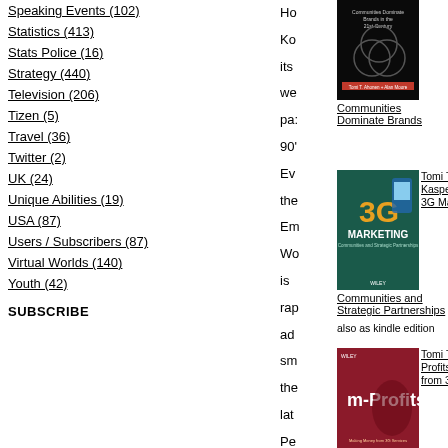Speaking Events (102)
Statistics (413)
Stats Police (16)
Strategy (440)
Television (206)
Tizen (5)
Travel (36)
Twitter (2)
UK (24)
Unique Abilities (19)
USA (87)
Users / Subscribers (87)
Virtual Worlds (140)
Youth (42)
SUBSCRIBE
[Figure (photo): Book cover: Communities Dominate Brands - dark cover with circular overlapping shapes]
Communities Dominate Brands
[Figure (photo): Book cover: 3G Marketing - teal/green cover featuring smartphone and 3G Marketing text]
Tomi T. Ahonen, Timo Kasper & Sara Melkko: 3G Marketing:
Communities and Strategic Partnerships
also as kindle edition
[Figure (photo): Book cover: m-Profits: Making Money from 3G Services - red cover with woman using phone]
Tomi T. Ahonen: M-Profits: Making Money from 3G Services